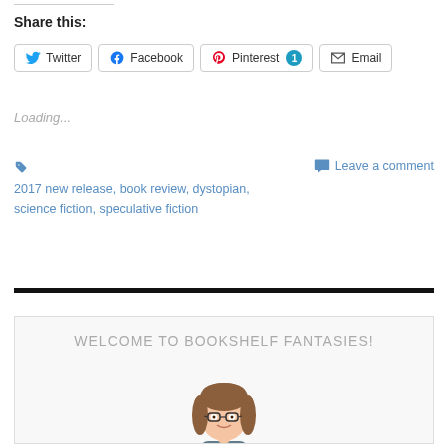Share this:
Twitter | Facebook | Pinterest 1 | Email
Loading...
2017 new release, book review, dystopian, science fiction, speculative fiction
Leave a comment
WELCOME TO BOOKSHELF FANTASIES!
[Figure (illustration): Cartoon bitmoji avatar of a woman with brown hair wearing glasses, holding a red book, shown from the waist up]